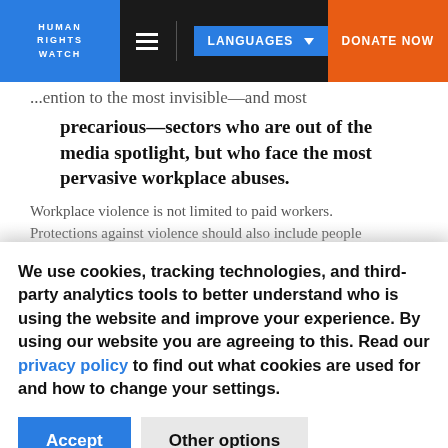HUMAN RIGHTS WATCH | LANGUAGES | DONATE NOW
...ention to the most invisible—and most precarious—sectors who are out of the media spotlight, but who face the most pervasive workplace abuses.
Workplace violence is not limited to paid workers. Protections against violence should also include people...
We use cookies, tracking technologies, and third-party analytics tools to better understand who is using the website and improve your experience. By using our website you are agreeing to this. Read our privacy policy to find out what cookies are used for and how to change your settings.